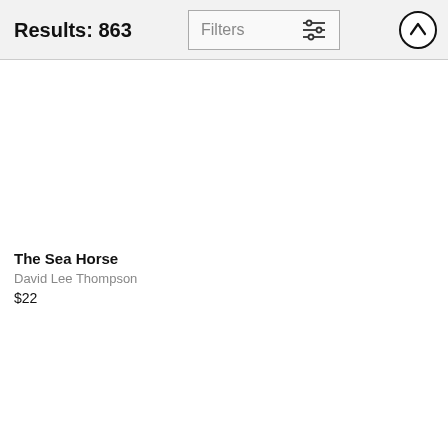Results: 863
[Figure (screenshot): Filters button with sliders icon]
[Figure (screenshot): Upload/up arrow circle button]
The Sea Horse
David Lee Thompson
$22